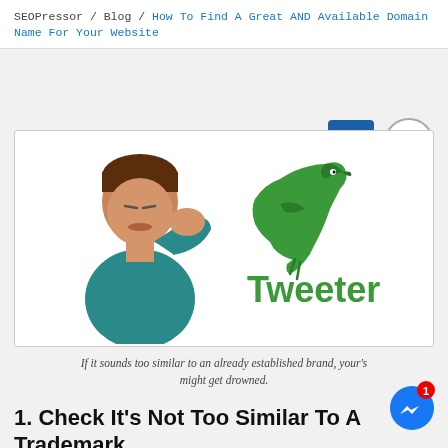SEOPressor / Blog / How To Find A Great AND Available Domain Name For Your Website
[Figure (illustration): A confused person holding their face next to a green bird logo with the text 'Tweeter', implying it sounds too similar to Twitter.]
If it sounds too similar to an already established brand, your's might get drowned.
1. Check It's Not Too Similar To A Trademark